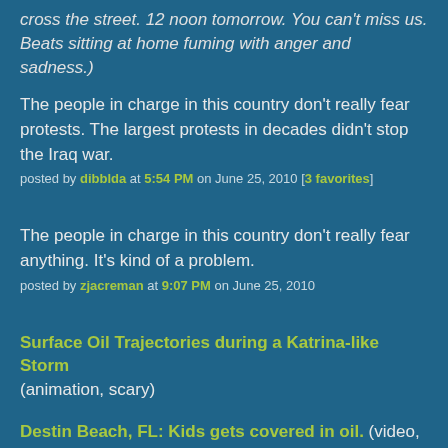cross the street. 12 noon tomorrow. You can't miss us. Beats sitting at home fuming with anger and sadness.)
The people in charge in this country don't really fear protests. The largest protests in decades didn't stop the Iraq war.
posted by dibblda at 5:54 PM on June 25, 2010 [3 favorites]
The people in charge in this country don't really fear anything. It's kind of a problem.
posted by zjacreman at 9:07 PM on June 25, 2010
Surface Oil Trajectories during a Katrina-like Storm (animation, scary)
Destin Beach, FL: Kids gets covered in oil. (video, scary)